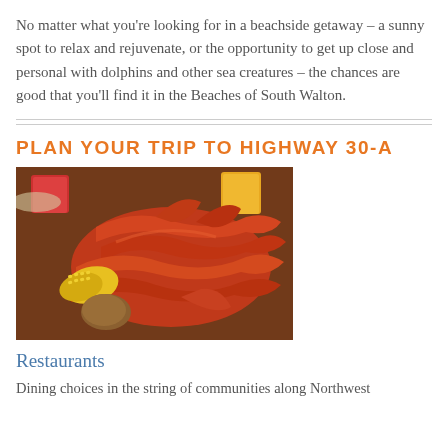No matter what you're looking for in a beachside getaway – a sunny spot to relax and rejuvenate, or the opportunity to get up close and personal with dolphins and other sea creatures – the chances are good that you'll find it in the Beaches of South Walton.
PLAN YOUR TRIP TO HIGHWAY 30-A
[Figure (photo): A plate of red crab legs with corn on the cob and small red potatoes, with cups of sauces in the background on a wooden table.]
Restaurants
Dining choices in the string of communities along Northwest